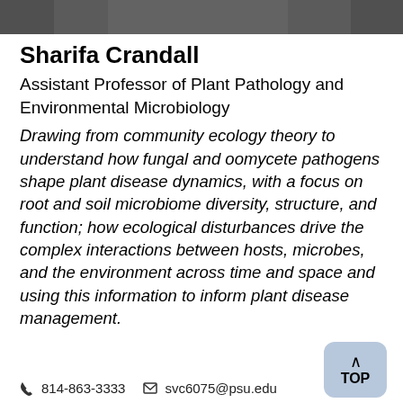[Figure (photo): Top portion of a photo of Sharifa Crandall, partially cropped]
Sharifa Crandall
Assistant Professor of Plant Pathology and Environmental Microbiology
Drawing from community ecology theory to understand how fungal and oomycete pathogens shape plant disease dynamics, with a focus on root and soil microbiome diversity, structure, and function; how ecological disturbances drive the complex interactions between hosts, microbes, and the environment across time and space and using this information to inform plant disease management.
814-863-3333   svc6075@psu.edu